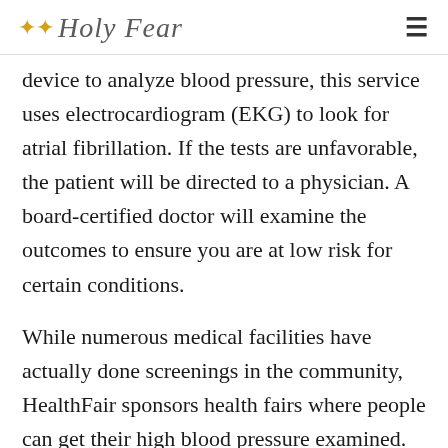Holy Fear
device to analyze blood pressure, this service uses electrocardiogram (EKG) to look for atrial fibrillation. If the tests are unfavorable, the patient will be directed to a physician. A board-certified doctor will examine the outcomes to ensure you are at low risk for certain conditions.
While numerous medical facilities have actually done screenings in the community, HealthFair sponsors health fairs where people can get their high blood pressure examined. While there's no evidence that